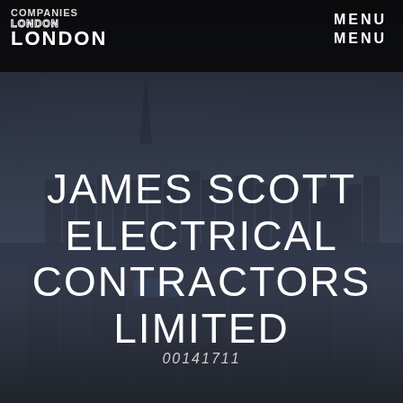[Figure (screenshot): Aerial photograph of London skyline with dark overlay serving as website background]
COMPANIES LONDON LONDON LONDON | MENU MENU
JAMES SCOTT ELECTRICAL CONTRACTORS LIMITED
00141711